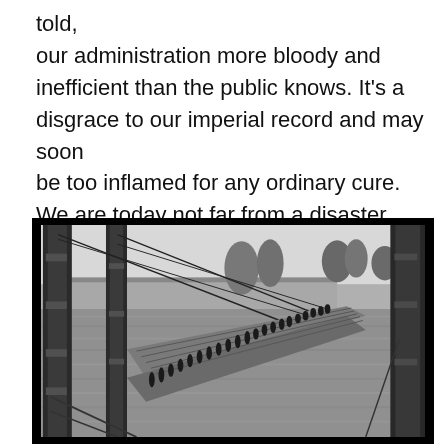told, our administration more bloody and inefficient than the public knows. It's a disgrace to our imperial record and may soon be too inflamed for any ordinary cure. We are today not far from a disaster
[Figure (photo): Black and white photograph showing people crossing a pontoon or floating bridge over a river. Large metal bridge structures/pylons are visible in the foreground. Palm trees and buildings are visible in the background on the opposite bank.]